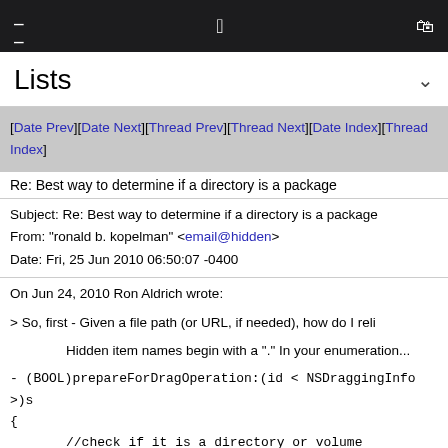≡  🍎  🛍
Lists
[Date Prev][Date Next][Thread Prev][Thread Next][Date Index][Thread Index]
Re: Best way to determine if a directory is a package
| Subject: Re: Best way to determine if a directory is a package |
| From: "ronald b. kopelman" <email@hidden> |
| Date: Fri, 25 Jun 2010 06:50:07 -0400 |
On Jun 24, 2010 Ron Aldrich wrote:

> So, first - Given a file path (or URL, if needed), how do I reli

        Hidden item names begin with a "." In your enumeration

- (BOOL)prepareForDragOperation:(id < NSDraggingInfo >)s
{
        //check if it is a directory or volume
        dropFile = [[self getFile:sender] objectAtIndex:0];
        NSWorkspace *ws = [NSWorkspace sharedWorkspace];
        NSString *uti = [ws typeOfFile:dropFile error:NULL];